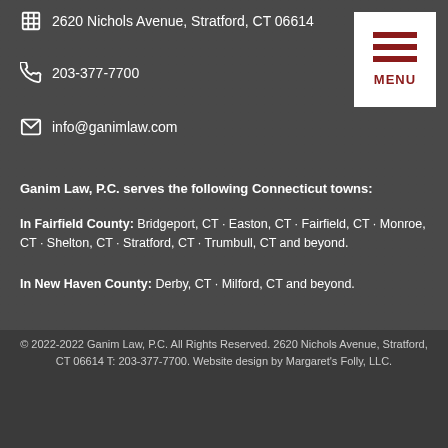2620 Nichols Avenue, Stratford, CT 06614
203-377-7700
info@ganimlaw.com
Ganim Law, P.C. serves the following Connecticut towns:
In Fairfield County: Bridgeport, CT · Easton, CT · Fairfield, CT · Monroe, CT · Shelton, CT · Stratford, CT · Trumbull, CT and beyond.
In New Haven County: Derby, CT · Milford, CT and beyond.
© 2022-2022 Ganim Law, P.C. All Rights Reserved. 2620 Nichols Avenue, Stratford, CT 06614 T: 203-377-7700. Website design by Margaret's Folly, LLC.